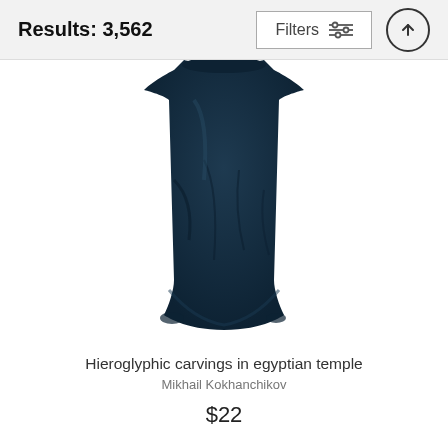Results: 3,562
[Figure (screenshot): Filter button with sliders icon and up arrow button in header bar]
[Figure (photo): Navy dark blue folded fabric/t-shirt product photo on white background]
Hieroglyphic carvings in egyptian temple
Mikhail Kokhanchikov
$22